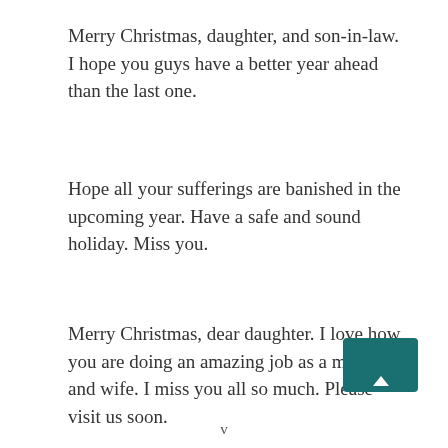Merry Christmas, daughter, and son-in-law. I hope you guys have a better year ahead than the last one.
Hope all your sufferings are banished in the upcoming year. Have a safe and sound holiday. Miss you.
Merry Christmas, dear daughter. I love how you are doing an amazing job as a mother and wife. I miss you all so much. Please visit us soon.